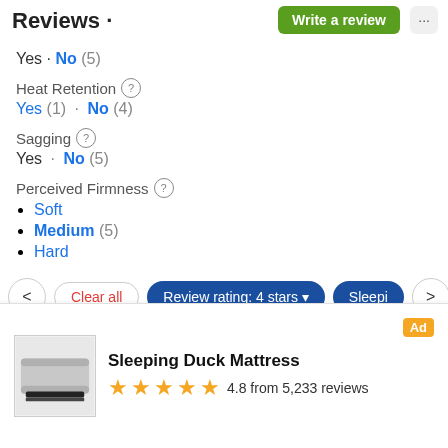Reviews · Write a review
Yes · No (5)
Heat Retention
Yes (1) · No (4)
Sagging
Yes · No (5)
Perceived Firmness
Soft
Medium (5)
Hard
Customer Service
4.5 (4)
< Clear all  Review rating: 4 stars  Sleepi >
Sleeping Duck Mattress  Ad  4.8 from 5,233 reviews